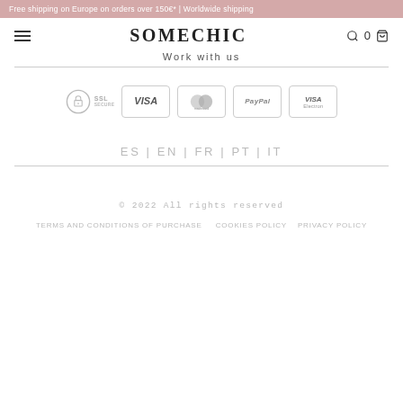Free shipping on Europe on orders over 150€* | Worldwide shipping
SOMECHIC
Work with us
[Figure (infographic): Payment badges: SSL Secure logo, VISA card, Mastercard, PayPal, VISA Electron]
ES | EN | FR | PT | IT
© 2022 All rights reserved
TERMS AND CONDITIONS OF PURCHASE   COOKIES POLICY   PRIVACY POLICY